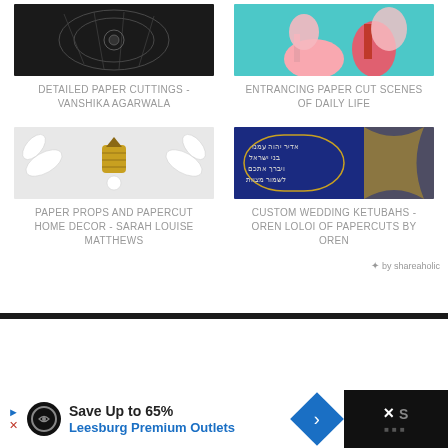[Figure (photo): Black and white detailed paper cutting artwork]
DETAILED PAPER CUTTINGS - VANSHIKA AGARWALA
[Figure (photo): Colorful paper cut scenes illustration with pink figures and teal background]
ENTRANCING PAPER CUT SCENES OF DAILY LIFE
[Figure (photo): Paper props and home decor with white tropical leaves and gold pineapple]
PAPER PROPS AND PAPERCUT HOME DECOR - SARAH LOUISE MATTHEWS
[Figure (photo): Custom wedding ketubah with Hebrew text in navy blue and gold]
CUSTOM WEDDING KETUBAHS - OREN LOLOI OF PAPERCUTS BY OREN
✦ by shareaholic
[Figure (other): Advertisement: Save Up to 65% Leesburg Premium Outlets]